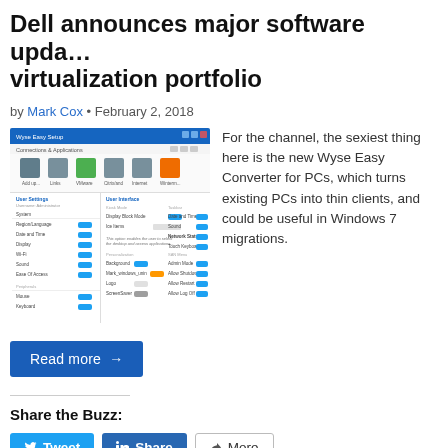Dell announces major software update for virtualization portfolio
by Mark Cox • February 2, 2018
[Figure (screenshot): Screenshot of a software UI showing Connections & Applications panel with User Settings and User Interface sections including options for Region/Language, Date and Time, Display, Wi-Fi, Sound, Ease Of Access, Mouse, Keyboard, Display Block Mode, Taskbar, Date and Time, Sound, Network Status, Touch Keyboard, Personalization, Background, Mark_windows_unin, Logo, ScreenSaver, Admin Menu, Allow Shutdown, Allow Restart, Allow Log Off.]
For the channel, the sexiest thing here is the new Wyse Easy Converter for PCs, which turns existing PCs into thin clients, and could be useful in Windows 7 migrations.
Read more →
Share the Buzz:
Tweet
Share
More